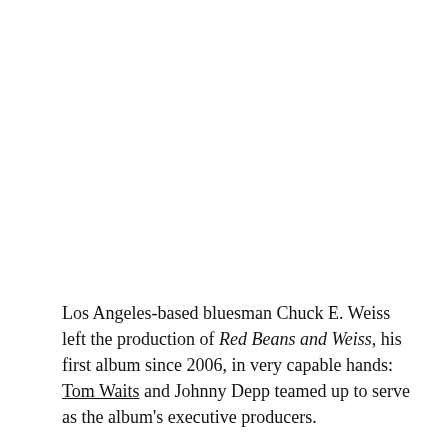Los Angeles-based bluesman Chuck E. Weiss left the production of Red Beans and Weiss, his first album since 2006, in very capable hands: Tom Waits and Johnny Depp teamed up to serve as the album's executive producers.